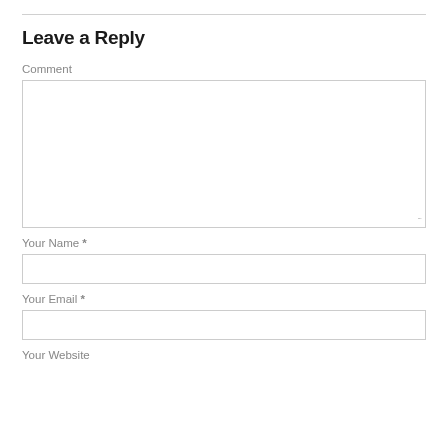Leave a Reply
Comment
Your Name *
Your Email *
Your Website